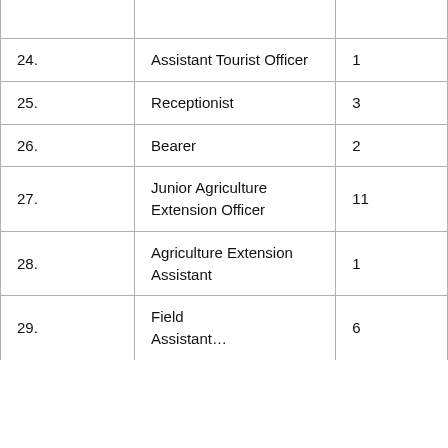| 24. | Assistant Tourist Officer | 1 |
| 25. | Receptionist | 3 |
| 26. | Bearer | 2 |
| 27. | Junior Agriculture Extension Officer | 11 |
| 28. | Agriculture Extension Assistant | 1 |
| 29. | Field Assistant (…) | 6 |